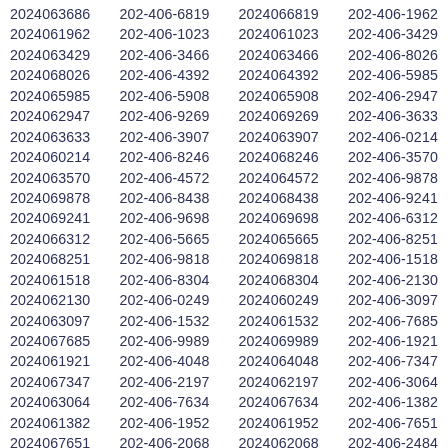2024063686 202-406-6819 2024066819 202-406-1962
2024061962 202-406-1023 2024061023 202-406-3429
2024063429 202-406-3466 2024063466 202-406-8026
2024068026 202-406-4392 2024064392 202-406-5985
2024065985 202-406-5908 2024065908 202-406-2947
2024062947 202-406-9269 2024069269 202-406-3633
2024063633 202-406-3907 2024063907 202-406-0214
2024060214 202-406-8246 2024068246 202-406-3570
2024063570 202-406-4572 2024064572 202-406-9878
2024069878 202-406-8438 2024068438 202-406-9241
2024069241 202-406-9698 2024069698 202-406-6312
2024066312 202-406-5665 2024065665 202-406-8251
2024068251 202-406-9818 2024069818 202-406-1518
2024061518 202-406-8304 2024068304 202-406-2130
2024062130 202-406-0249 2024060249 202-406-3097
2024063097 202-406-1532 2024061532 202-406-7685
2024067685 202-406-9989 2024069989 202-406-1921
2024061921 202-406-4048 2024064048 202-406-7347
2024067347 202-406-2197 2024062197 202-406-3064
2024063064 202-406-7634 2024067634 202-406-1382
2024061382 202-406-1952 2024061952 202-406-7651
2024067651 202-406-2068 2024062068 202-406-2484
2024062484 202-406-9770 2024069770 202-406-5482
2024065482 202-406-2200 2024062200 202-406-6773
2024066773 202-406-1783 2024061783 202-406-3608